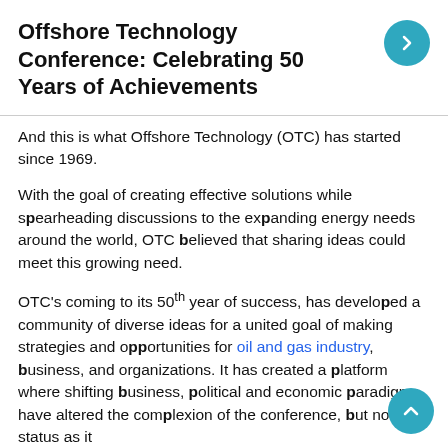Offshore Technology Conference: Celebrating 50 Years of Achievements
And this is what Offshore Technology (OTC) has started since 1969.
With the goal of creating effective solutions while spearheading discussions to the expanding energy needs around the world, OTC believed that sharing ideas could meet this growing need.
OTC's coming to its 50th year of success, has developed a community of diverse ideas for a united goal of making strategies and opportunities for oil and gas industry, business, and organizations. It has created a platform where shifting business, political and economic paradigms have altered the complexion of the conference, but not its status as it